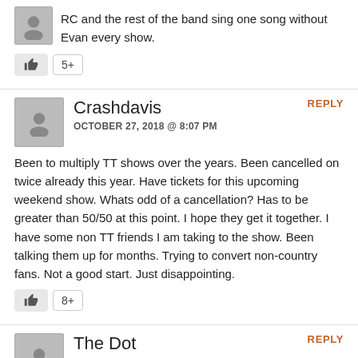RC and the rest of the band sing one song without Evan every show.
[Figure (other): Like button with thumbs up icon and count showing 5+]
Crashdavis
OCTOBER 27, 2018 @ 8:07 PM
REPLY
Been to multiply TT shows over the years. Been cancelled on twice already this year. Have tickets for this upcoming weekend show. Whats odd of a cancellation? Has to be greater than 50/50 at this point. I hope they get it together. I have some non TT friends I am taking to the show. Been talking them up for months. Trying to convert non-country fans. Not a good start. Just disappointing.
[Figure (other): Like button with thumbs up icon and count showing 8+]
The Dot
OCTOBER 27, 2018 @ 8:42 PM
REPLY
I was going to get Philly tickets, but decided not to. They're getting too unreliable. I wish they would get off the road, get help, and